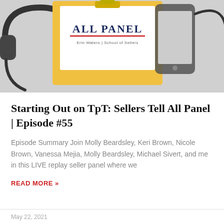[Figure (photo): Podcast episode cover art showing a clipboard with 'ALL PANEL' text and 'Erin Waters | School of Sellers' subtitle on a yellow background, flanked by headphones on the left and a smartphone on the right, against a grey background.]
Starting Out on TpT: Sellers Tell All Panel | Episode #55
Episode Summary Join Molly Beardsley, Keri Brown, Nicole Brown, Vanessa Mejia, Molly Beardsley, Michael Sivert, and me in this LIVE replay seller panel where we
READ MORE »
May 22, 2021